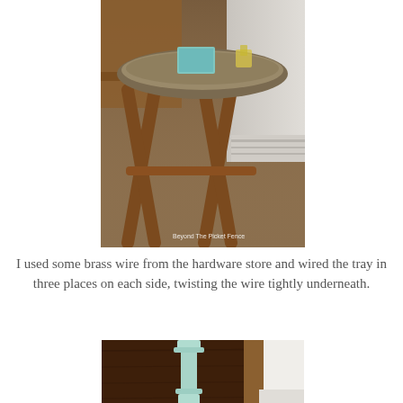[Figure (photo): A wicker tray table with wooden X-frame legs on a wood floor, decorated with a teal book and yellow items. Watermark reads 'Beyond The Picket Fence'.]
I used some brass wire from the hardware store and wired the tray in three places on each side, twisting the wire tightly underneath.
[Figure (photo): A light blue/mint painted spindle or column piece leaning against a dark brown wooden surface near a white wall corner.]